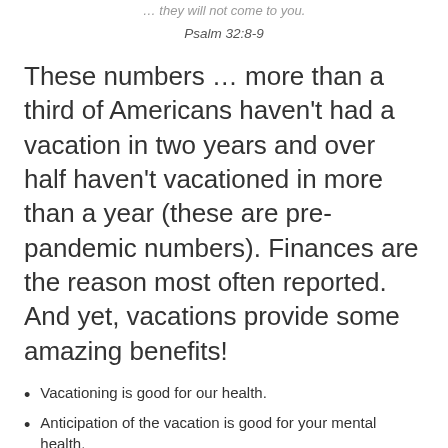… they will not come to you.
Psalm 32:8-9
These numbers … more than a third of Americans haven't had a vacation in two years and over half haven't vacationed in more than a year (these are pre-pandemic numbers). Finances are the reason most often reported. And yet, vacations provide some amazing benefits!
Vacationing is good for our health.
Anticipation of the vacation is good for your mental health.
…